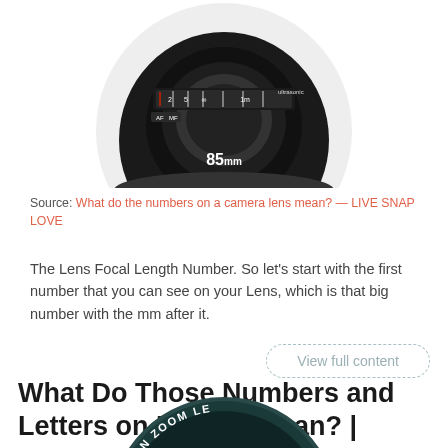[Figure (photo): Top portion of a Canon 85mm camera lens shown in a circular crop, black lens with aperture and focus markings visible, showing '85mm' label]
Source: What do the numbers on a camera lens mean? — LIVE SNAP LOVE
The Lens Focal Length Number. So let's start with the first number that you can see on your Lens, which is that big number with the mm after it.
View full content
What Do Those Numbers and Letters on Lenses Mean? | Learn
[Figure (photo): Bottom portion of a Canon Zoom lens shown as a circular crop, dark teal/black lens with 'CANON ZOOM LE...' text visible around the rim]